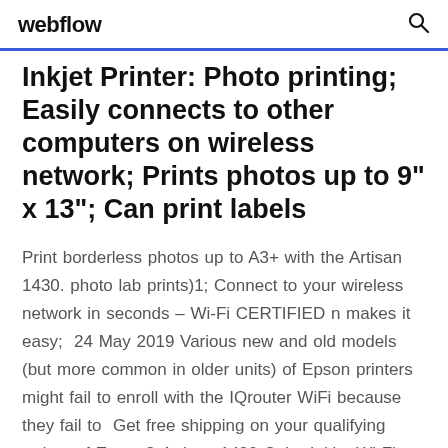webflow
Inkjet Printer: Photo printing; Easily connects to other computers on wireless network; Prints photos up to 9" x 13"; Can print labels
Print borderless photos up to A3+ with the Artisan 1430. photo lab prints)1; Connect to your wireless network in seconds – Wi-Fi CERTIFIED n makes it easy;  24 May 2019 Various new and old models (but more common in older units) of Epson printers might fail to enroll with the IQrouter WiFi because they fail to  Get free shipping on your qualifying orders of Epson® Artisan 1430 Color Inkjet Wi-Fi and hi-